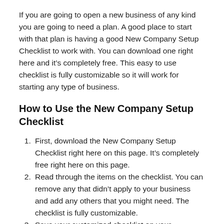If you are going to open a new business of any kind you are going to need a plan. A good place to start with that plan is having a good New Company Setup Checklist to work with. You can download one right here and it's completely free. This easy to use checklist is fully customizable so it will work for starting any type of business.
How to Use the New Company Setup Checklist
First, download the New Company Setup Checklist right here on this page. It's completely free right here on this page.
Read through the items on the checklist. You can remove any that didn't apply to your business and add any others that you might need. The checklist is fully customizable.
Save your customized checklist on your computer in case you ever need to use it again.
Complete the items on the checklist one at a time. Check